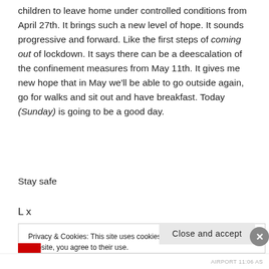children to leave home under controlled conditions from April 27th. It brings such a new level of hope. It sounds progressive and forward. Like the first steps of coming out of lockdown. It says there can be a deescalation of the confinement measures from May 11th. It gives me new hope that in May we'll be able to go outside again, go for walks and sit out and have breakfast. Today (Sunday) is going to be a good day.
Stay safe
L x
Privacy & Cookies: This site uses cookies. By continuing to use this website, you agree to their use.
To find out more, including how to control cookies, see here: Cookie Policy
Close and accept
AIRPORT 11:06 AS